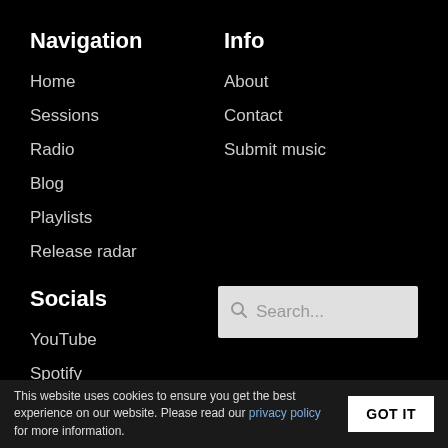Navigation
Home
Sessions
Radio
Blog
Playlists
Release radar
Info
About
Contact
Submit music
Socials
YouTube
Spotify
Facebook
Instagram
Search...
This website uses cookies to ensure you get the best experience on our website. Please read our privacy policy for more information.
GOT IT